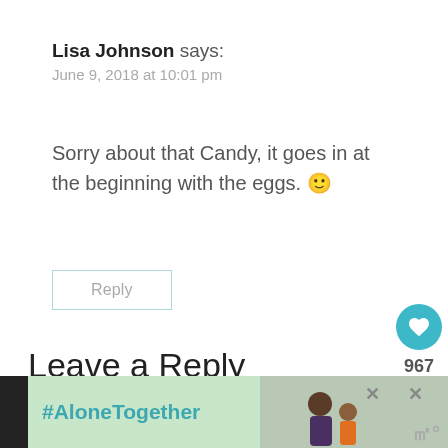Lisa Johnson says: June 9, 2018 at 10:01 pm
Sorry about that Candy, it goes in at the beginning with the eggs. 🙂
Reply
Leave a Reply
Your email address will not be published. Required
[Figure (infographic): #AloneTogether ad banner with photo of father and child, close buttons, and logo]